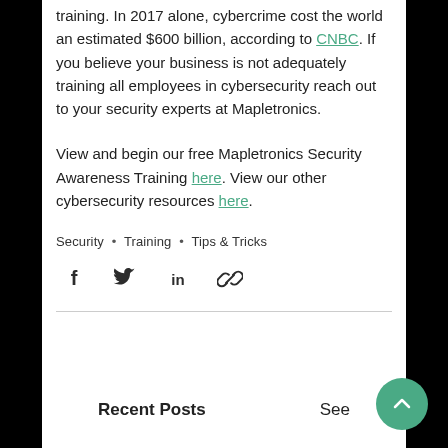training. In 2017 alone, cybercrime cost the world an estimated $600 billion, according to CNBC. If you believe your business is not adequately training all employees in cybersecurity reach out to your security experts at Mapletronics.
View and begin our free Mapletronics Security Awareness Training here. View our other cybersecurity resources here.
Security • Training • Tips & Tricks
[Figure (infographic): Social share icons: Facebook, Twitter, LinkedIn, Link/URL]
Recent Posts
See